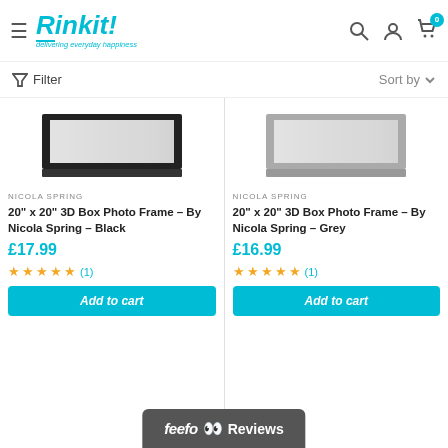Rinkit! delivering everyday happiness
Filter  Sort by
[Figure (photo): 20 inch x 20 inch 3D Box Photo Frame in black color, side angle view showing depth]
NICOLA SPRING
20" x 20" 3D Box Photo Frame – By Nicola Spring – Black
£17.99
★★★★★ (1)
Add to cart
[Figure (photo): 20 inch x 20 inch 3D Box Photo Frame in grey color, side angle view showing depth]
NICOLA SPRING
20" x 20" 3D Box Photo Frame – By Nicola Spring – Grey
£16.99
★★★★★ (1)
Add to cart
feefo Reviews